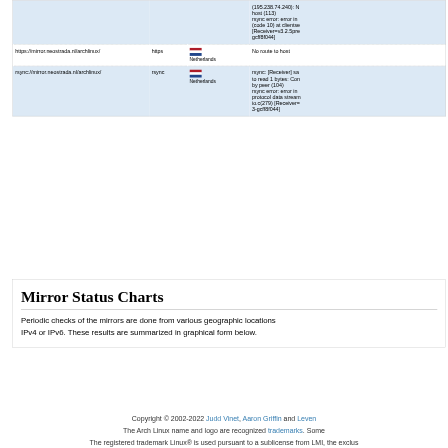| URL | Protocol | Country | Status |
| --- | --- | --- | --- |
|  |  |  | (195.238.74.240): N host (113)
rsync error: error in (code 10) at clientse [Receiver=v3.2.5pre gcff8f044] |
| https://mirror.neostrada.nl/archlinux/ | https | Netherlands | No route to host |
| rsync://mirror.neostrada.nl/archlinux/ | rsync | Netherlands | rsync: [Receiver] sa to read 1 bytes: Con by peer (104)
rsync error: error in protocol data stream io.c(279) [Receiver= 3-gcff8f044] |
Mirror Status Charts
Periodic checks of the mirrors are done from various geographic locations IPv4 or IPv6. These results are summarized in graphical form below.
Copyright © 2002-2022 Judd Vinet, Aaron Griffin and Leven The Arch Linux name and logo are recognized trademarks. Some The registered trademark Linux® is used pursuant to a sublicense from LMI, the exclus